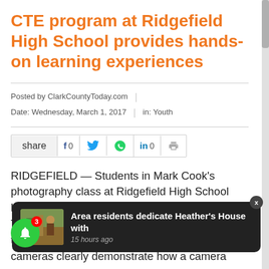CTE program at Ridgefield High School provides hands-on learning experiences
Posted by ClarkCountyToday.com
Date: Wednesday, March 1, 2017  |  in: Youth
[Figure (infographic): Social share bar with share button, Facebook (f 0), Twitter bird icon, WhatsApp icon, LinkedIn (in 0), and print icon]
RIDGEFIELD — Students in Mark Cook's photography class at Ridgefield High School know inside and out how cameras work. How? They build the cameras using cardboard, duct tape and alu… it can b… cameras clearly demonstrate how a camera
[Figure (infographic): Push notification popup: thumbnail image of area residents, text 'Area residents dedicate Heather's House with', time '15 hours ago', close button X, and green bell icon with badge showing 3]